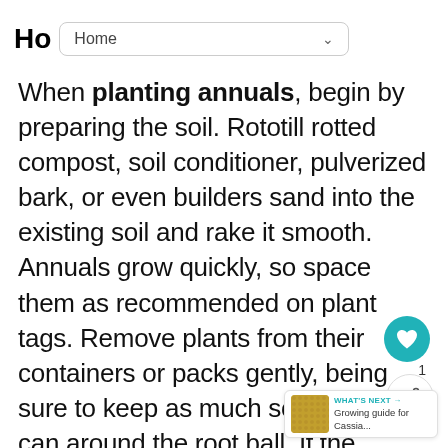Ho  Home
When planting annuals, begin by preparing the soil. Rototill rotted compost, soil conditioner, pulverized bark, or even builders sand into the existing soil and rake it smooth. Annuals grow quickly, so space them as recommended on plant tags. Remove plants from their containers or packs gently, being sure to keep as much soil as you can around the root ball. If the rootball is tight, loosen it a bit by gently separating white, matted roots with your fingers or a pocket knife. Plant at same depth they were in the container, fill in around the plants, providing support, not cutting off air to the roots. Water the plants